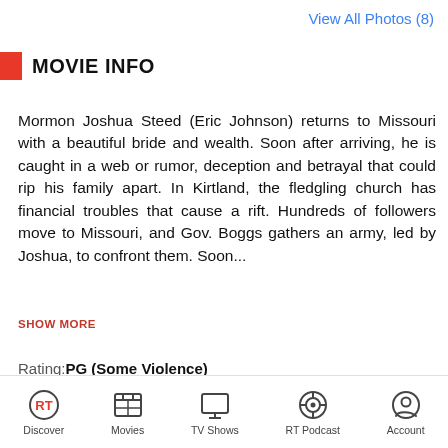View All Photos (8)
MOVIE INFO
Mormon Joshua Steed (Eric Johnson) returns to Missouri with a beautiful bride and wealth. Soon after arriving, he is caught in a web or rumor, deception and betrayal that could rip his family apart. In Kirtland, the fledgling church has financial troubles that cause a rift. Hundreds of followers move to Missouri, and Gov. Boggs gathers an army, led by Joshua, to confront them. Soon...
SHOW MORE
Rating: PG (Some Violence)
Genre: Drama
Original Language: English
Director:
Producer:
Writer: Gerald N...d, Matt Whitaker
[Figure (screenshot): Tooltip overlay reading: Discover more movies to watch at home]
Discover | Movies | TV Shows | RT Podcast | Account